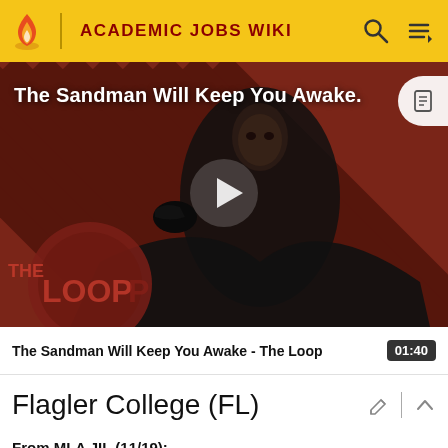ACADEMIC JOBS WIKI
[Figure (screenshot): Video thumbnail for 'The Sandman Will Keep You Awake - The Loop' showing a dark-robed figure against a diagonal striped red/brown background with THE LOOP logo, and a play button overlay]
The Sandman Will Keep You Awake - The Loop  01:40
Flagler College (FL)
From MLA JIL (11/19):